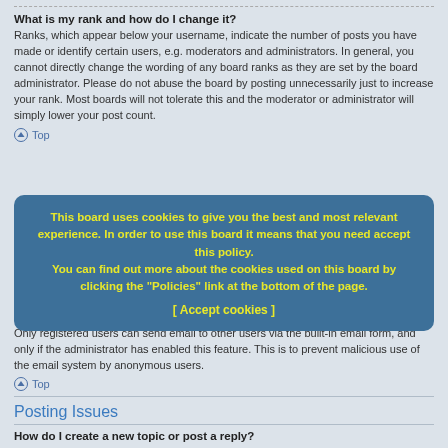What is my rank and how do I change it?
Ranks, which appear below your username, indicate the number of posts you have made or identify certain users, e.g. moderators and administrators. In general, you cannot directly change the wording of any board ranks as they are set by the board administrator. Please do not abuse the board by posting unnecessarily just to increase your rank. Most boards will not tolerate this and the moderator or administrator will simply lower your post count.
Top
[Figure (infographic): Cookie consent overlay: 'This board uses cookies to give you the best and most relevant experience. In order to use this board it means that you need accept this policy. You can find out more about the cookies used on this board by clicking the "Policies" link at the bottom of the page. [ Accept cookies ]']
When I click the email link for a user it asks me to login?
Only registered users can send email to other users via the built-in email form, and only if the administrator has enabled this feature. This is to prevent malicious use of the email system by anonymous users.
Top
Posting Issues
How do I create a new topic or post a reply?
To post a new topic in a forum, click "New Topic". To post a reply to a topic, click "Post Reply". You may need to register before you can post a message. A list of your permissions in each forum is available at the bottom of the forum and topic screens. Example: You can post new topics, You can post attachments, etc.